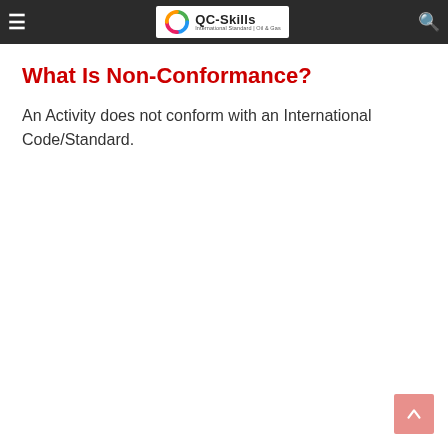QC-Skills International Standard | Oil & Gas
What Is Non-Conformance?
An Activity does not conform with an International Code/Standard.